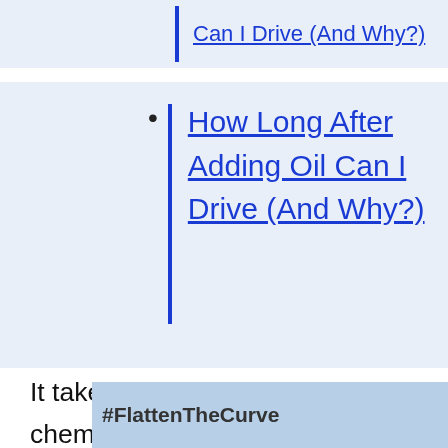Can I Drive (And Why?)
How Long After Adding Oil Can I Drive (And Why?)
It takes that long after chemotherapy to drive because the body needs ample time to rest and heal properly. There are various symptoms that you can find when the body is treated by chemotherapy. You may experience a fever that is higher than 100.5